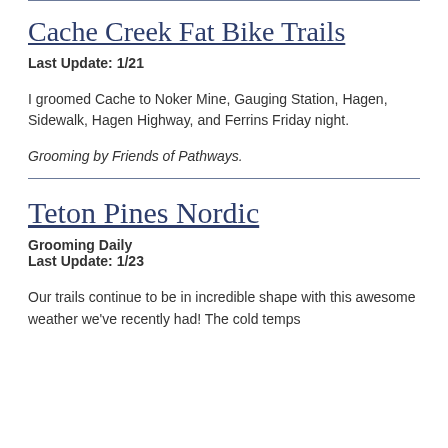Cache Creek Fat Bike Trails
Last Update: 1/21
I groomed Cache to Noker Mine, Gauging Station, Hagen, Sidewalk, Hagen Highway, and Ferrins Friday night.
Grooming by Friends of Pathways.
Teton Pines Nordic
Grooming Daily
Last Update: 1/23
Our trails continue to be in incredible shape with this awesome weather we've recently had! The cold temps